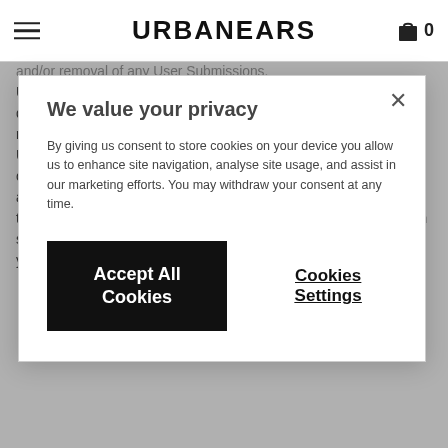URBANEARS
We value your privacy
By giving us consent to store cookies on your device you allow us to enhance site navigation, analyse site usage, and assist in our marketing efforts. You may withdraw your consent at any time.
Accept All Cookies | Cookies Settings
and/or removal of any User Submissions. URBANEARS does not regularly review posted comments, but does reserve the right (but not the obligation) to monitor and edit or remove any comments submitted to the Website. You grant URBANEARS the right to use the name that you submit in connection with any comments. You agree not to use a false email address, impersonate any person or entity, or otherwise mislead as to the origin of any comments you submit. You are and shall remain solely responsible for the content of any comments you make and you agree to indemnify URBANEARS and its affiliates for all claims